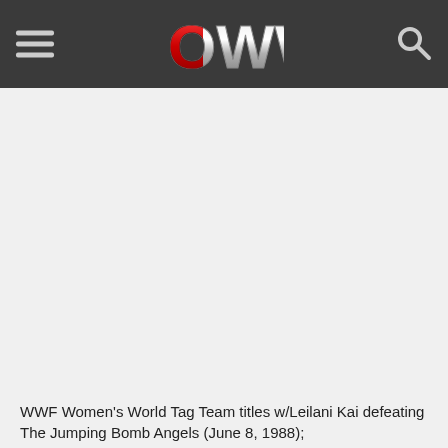OWW logo header with hamburger menu and search icon
WWF Women's World Tag Team titles w/Leilani Kai defeating The Jumping Bomb Angels (June 8, 1988);